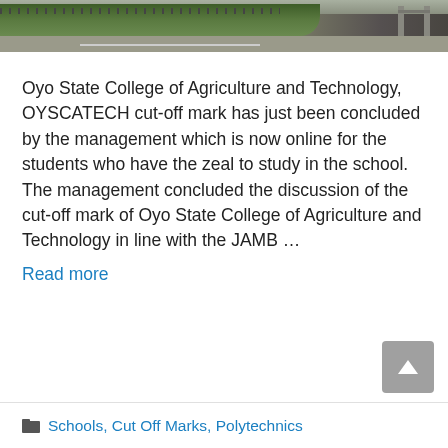[Figure (photo): Exterior photo of Oyo State College of Agriculture and Technology campus showing greenery, trees, a gate and road area]
Oyo State College of Agriculture and Technology, OYSCATECH cut-off mark has just been concluded by the management which is now online for the students who have the zeal to study in the school. The management concluded the discussion of the cut-off mark of Oyo State College of Agriculture and Technology in line with the JAMB …
Read more
Schools, Cut Off Marks, Polytechnics